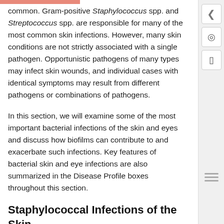common. Gram-positive Staphylococcus spp. and Streptococcus spp. are responsible for many of the most common skin infections. However, many skin conditions are not strictly associated with a single pathogen. Opportunistic pathogens of many types may infect skin wounds, and individual cases with identical symptoms may result from different pathogens or combinations of pathogens.
In this section, we will examine some of the most important bacterial infections of the skin and eyes and discuss how biofilms can contribute to and exacerbate such infections. Key features of bacterial skin and eye infections are also summarized in the Disease Profile boxes throughout this section.
Staphylococcal Infections of the Skin
Staphylococcus species are commonly found on the